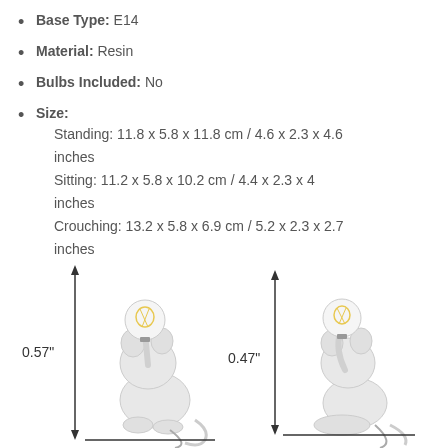Base Type: E14
Material: Resin
Bulbs Included: No
Size:
Standing: 11.8 x 5.8 x 11.8 cm / 4.6 x 2.3 x 4.6 inches
Sitting: 11.2 x 5.8 x 10.2 cm / 4.4 x 2.3 x 4 inches
Crouching: 13.2 x 5.8 x 6.9 cm / 5.2 x 2.3 x 2.7 inches
[Figure (photo): Two white resin mouse lamps side by side with dimension arrows. Left mouse is standing holding a globe bulb, labeled 0.57". Right mouse is sitting with a globe bulb, labeled 0.47".]